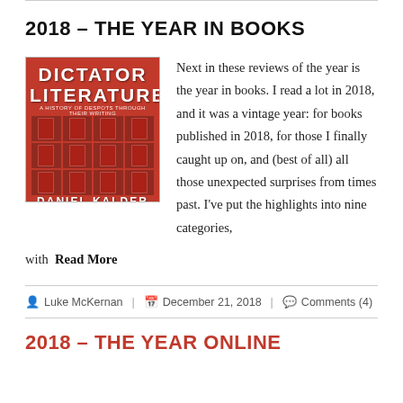2018 – THE YEAR IN BOOKS
[Figure (photo): Book cover of 'Dictator Literature' by Daniel Kalder — red cover with grid of figures]
Next in these reviews of the year is the year in books. I read a lot in 2018, and it was a vintage year: for books published in 2018, for those I finally caught up on, and (best of all) all those unexpected surprises from times past. I've put the highlights into nine categories, with Read More
Luke McKernan  |  December 21, 2018  |  Comments (4)
2018 – THE YEAR ONLINE